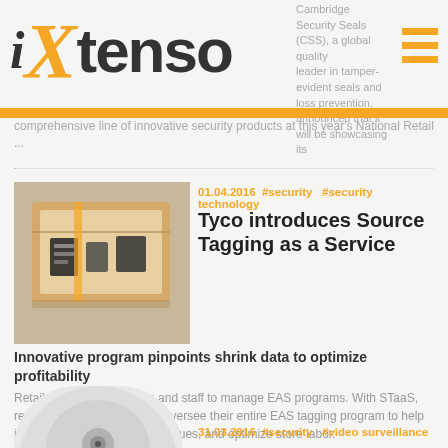iXtenso
Cambridge Security Seals (CSS), a global quality leader in tamper-evident seals and loss prevention, announced that it will be showcasing its comprehensive line of innovative security products at this year's National Retail ...
[Figure (photo): A cardboard box with electronic security tags inside, viewed from above at an angle.]
01.04.2016  #security  #security technology
Tyco introduces Source Tagging as a Service
Innovative program pinpoints shrink data to optimize profitability
Retailers have limited time and staff to manage EAS programs. With STaaS, retailers can rely on Tyco to oversee their entire EAS tagging program to help increase sales, solve shrink issues, and optimize store labor.
[Figure (photo): A white dome security camera, partially visible at the bottom of the page.]
31.03.2016  #security  #video surveillance